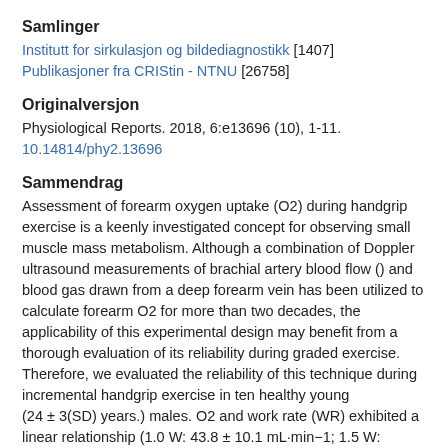Samlinger
Institutt for sirkulasjon og bildediagnostikk [1407]
Publikasjoner fra CRIStin - NTNU [26758]
Originalversjon
Physiological Reports. 2018, 6:e13696 (10), 1-11.
10.14814/phy2.13696
Sammendrag
Assessment of forearm oxygen uptake (O2) during handgrip exercise is a keenly investigated concept for observing small muscle mass metabolism. Although a combination of Doppler ultrasound measurements of brachial artery blood flow () and blood gas drawn from a deep forearm vein has been utilized to calculate forearm O2 for more than two decades, the applicability of this experimental design may benefit from a thorough evaluation of its reliability during graded exercise. Therefore, we evaluated the reliability of this technique during incremental handgrip exercise in ten healthy young (24 ± 3(SD) years.) males. O2 and work rate (WR) exhibited a linear relationship (1.0 W: 43.8 ± 10.1 mL·min−1; 1.5 W: 53.8 ± 14.1 mL·min−1; 2.0 W: 62.4